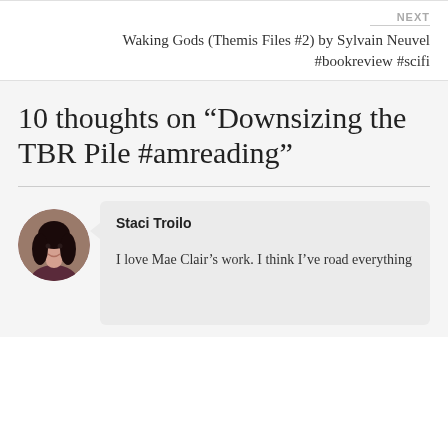NEXT
Waking Gods (Themis Files #2) by Sylvain Neuvel #bookreview #scifi
10 thoughts on “Downsizing the TBR Pile #amreading”
[Figure (photo): Circular avatar photo of Staci Troilo, a woman with dark hair]
Staci Troilo
I love Mae Clair’s work. I think I’ve read everything